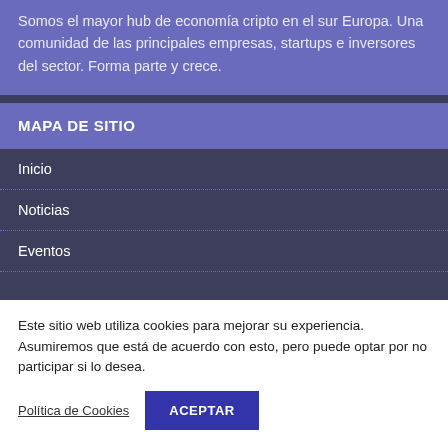Somos el mayor hub de economía cripto en el sur Europa. Una comunidad de las principales empresas, startups e inversores del sector. Forma parte y crece.
MAPA DE SITIO
Inicio
Noticias
Eventos
Este sitio web utiliza cookies para mejorar su experiencia. Asumiremos que está de acuerdo con esto, pero puede optar por no participar si lo desea.
Política de Cookies
ACEPTAR